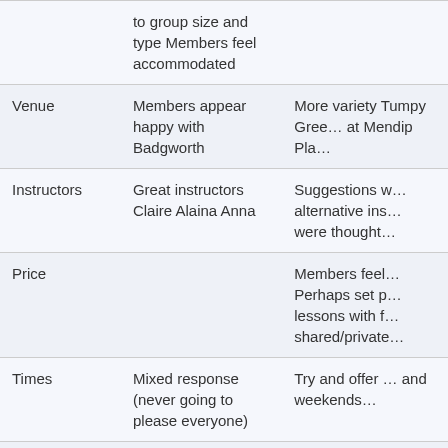| Category | Positive/Feedback | Suggestions/Issues |
| --- | --- | --- |
|  | to group size and type Members feel accommodated |  |
| Venue | Members appear happy with Badgworth | More variety Tumpy Green at Mendip Pla… |
| Instructors | Great instructors Claire Alaina Anna | Suggestions w… alternative ins… were thought… |
| Price |  | Members feel… Perhaps set p… lessons with f… shared/private… |
| Times | Mixed response (never going to please everyone) | Try and offer … and weekends… |
| Length | Members would… | Offer hour g… |